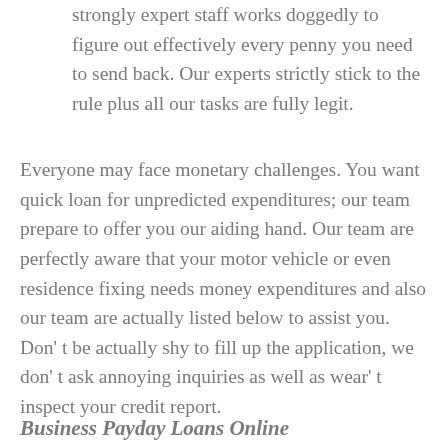strongly expert staff works doggedly to figure out effectively every penny you need to send back. Our experts strictly stick to the rule plus all our tasks are fully legit.
Everyone may face monetary challenges. You want quick loan for unpredicted expenditures; our team prepare to offer you our aiding hand. Our team are perfectly aware that your motor vehicle or even residence fixing needs money expenditures and also our team are actually listed below to assist you. Don’ t be actually shy to fill up the application, we don’ t ask annoying inquiries as well as wear’ t inspect your credit report.
Business Payday Loans Online